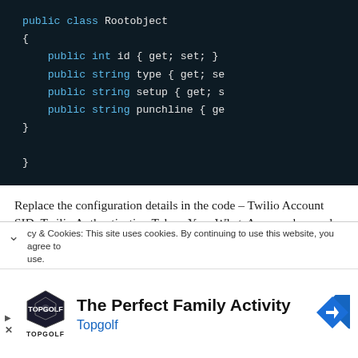[Figure (screenshot): Dark-themed code editor screenshot showing a C# class definition: public class Rootobject with properties id (int), type (string), setup (string), punchline (string), each with get/set accessors.]
Replace the configuration details in the code – Twilio Account SID, Twilio Authentication Token, Your WhatsApp number, and Twilio Number.
To get the Twilio configuration details, go to my post
cy & Cookies: This site uses cookies. By continuing to use this website, you agree to their use.
The Perfect Family Activity
Topgolf